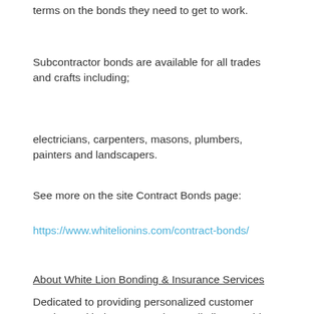terms on the bonds they need to get to work.
Subcontractor bonds are available for all trades and crafts including;
electricians, carpenters, masons, plumbers, painters and landscapers.
See more on the site Contract Bonds page:
https://www.whitelionins.com/contract-bonds/
About White Lion Bonding & Insurance Services
Dedicated to providing personalized customer service and industry expertise to all clients, White Lion has been providing quality surety bonding services since 2008. With a customer first mindset, we focus on